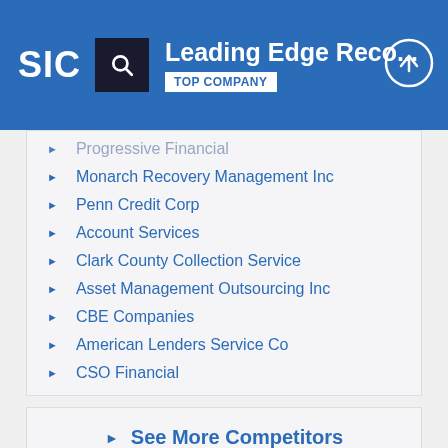SIC | Leading Edge Reco... | TOP COMPANY
Progressive Financial
Monarch Recovery Management Inc
Penn Credit Corp
Account Services
Clark County Collection Service
Asset Management Outsourcing Inc
CBE Companies
American Lenders Service Co
CSO Financial
See More Competitors
Related Classifications